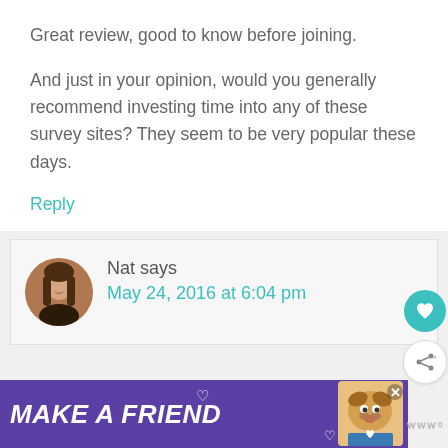Great review, good to know before joining.
And just in your opinion, would you generally recommend investing time into any of these survey sites? They seem to be very popular these days.
Reply
Nat says
May 24, 2016 at 6:04 pm
[Figure (infographic): Make A Friend advertisement banner with purple background, dog photo, heart icons, and close button]